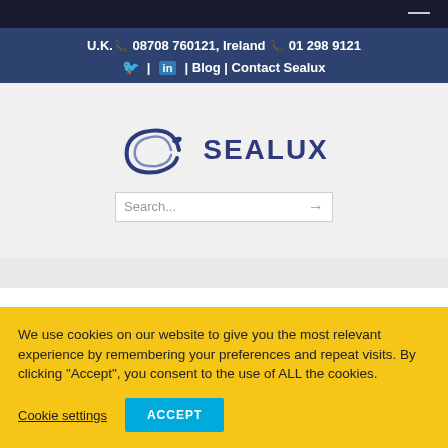U.K. 08708 760121, Ireland 01 298 9121 | Blog | Contact Sealux
[Figure (logo): Sealux company logo with stylized C shape and SEALUX text in navy blue]
Search...
We use cookies on our website to give you the most relevant experience by remembering your preferences and repeat visits. By clicking "Accept", you consent to the use of ALL the cookies.
Cookie settings | ACCEPT